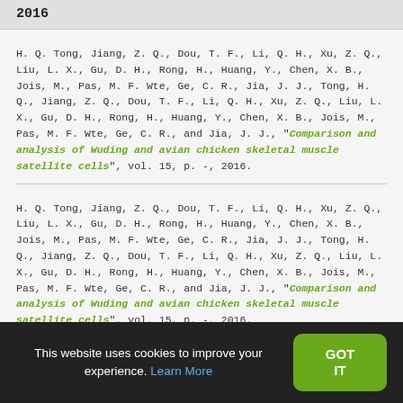2016
H. Q. Tong, Jiang, Z. Q., Dou, T. F., Li, Q. H., Xu, Z. Q., Liu, L. X., Gu, D. H., Rong, H., Huang, Y., Chen, X. B., Jois, M., Pas, M. F. Wte, Ge, C. R., Jia, J. J., Tong, H. Q., Jiang, Z. Q., Dou, T. F., Li, Q. H., Xu, Z. Q., Liu, L. X., Gu, D. H., Rong, H., Huang, Y., Chen, X. B., Jois, M., Pas, M. F. Wte, Ge, C. R., and Jia, J. J., "Comparison and analysis of Wuding and avian chicken skeletal muscle satellite cells", vol. 15, p. -, 2016.
H. Q. Tong, Jiang, Z. Q., Dou, T. F., Li, Q. H., Xu, Z. Q., Liu, L. X., Gu, D. H., Rong, H., Huang, Y., Chen, X. B., Jois, M., Pas, M. F. Wte, Ge, C. R., Jia, J. J., Tong, H. Q., Jiang, Z. Q., Dou, T. F., Li, Q. H., Xu, Z. Q., Liu, L. X., Gu, D. H., Rong, H., Huang, Y., Chen, X. B., Jois, M., Pas, M. F. Wte, Ge, C. R., and Jia, J. J., "Comparison and analysis of Wuding and avian chicken skeletal muscle satellite cells", vol. 15, p. -, 2016.
This website uses cookies to improve your experience. Learn More